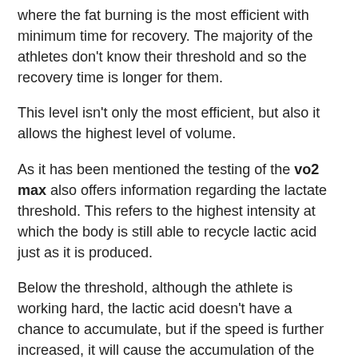where the fat burning is the most efficient with minimum time for recovery. The majority of the athletes don't know their threshold and so the recovery time is longer for them.
This level isn't only the most efficient, but also it allows the highest level of volume.
As it has been mentioned the testing of the vo2 max also offers information regarding the lactate threshold. This refers to the highest intensity at which the body is still able to recycle lactic acid just as it is produced.
Below the threshold, although the athlete is working hard, the lactic acid doesn't have a chance to accumulate, but if the speed is further increased, it will cause the accumulation of the lactic acid.